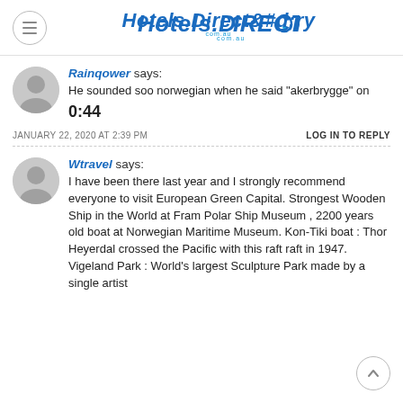Hotels.Directory
Rainqower says: He sounded soo norwegian when he said "akerbrygge" on 0:44
JANUARY 22, 2020 AT 2:39 PM   LOG IN TO REPLY
Wtravel says: I have been there last year and I strongly recommend everyone to visit European Green Capital. Strongest Wooden Ship in the World at Fram Polar Ship Museum , 2200 years old boat at Norwegian Maritime Museum. Kon-Tiki boat : Thor Heyerdal crossed the Pacific with this raft raft in 1947. Vigeland Park : World's largest Sculpture Park made by a single artist